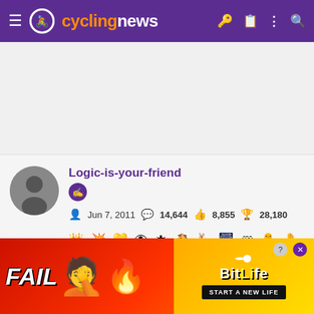cyclingnews
[Figure (screenshot): Gray advertisement placeholder area]
Logic-is-your-friend
Jun 7, 2011  14,644  8,855  28,180
[Figure (photo): User avatar photo - grayscale portrait of a man]
[Figure (screenshot): BitLife advertisement banner - FAIL text with facepalm emoji and flame, BitLife logo, START A NEW LIFE button]